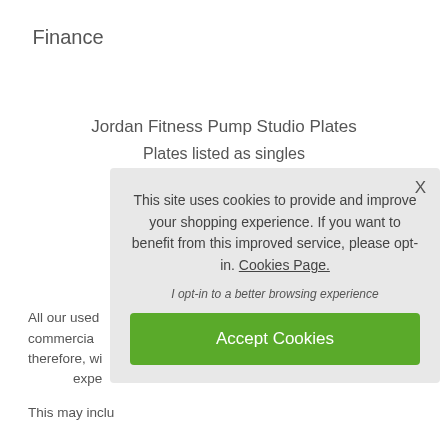Finance
Jordan Fitness Pump Studio Plates
Plates listed as singles
We have av...
These are liste...
will have crac...
This will not a...
Pleas...
All our used...
commercia...
therefore, wi...
expe...
This may inclu...
This site uses cookies to provide and improve your shopping experience. If you want to benefit from this improved service, please opt-in. Cookies Page.

I opt-in to a better browsing experience

Accept Cookies